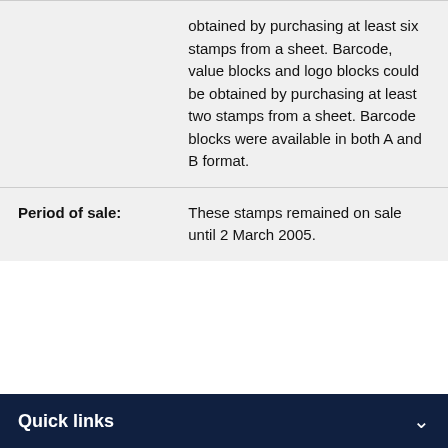|  | obtained by purchasing at least six stamps from a sheet. Barcode, value blocks and logo blocks could be obtained by purchasing at least two stamps from a sheet. Barcode blocks were available in both A and B format. |
| Period of sale: | These stamps remained on sale until 2 March 2005. |
Quick links